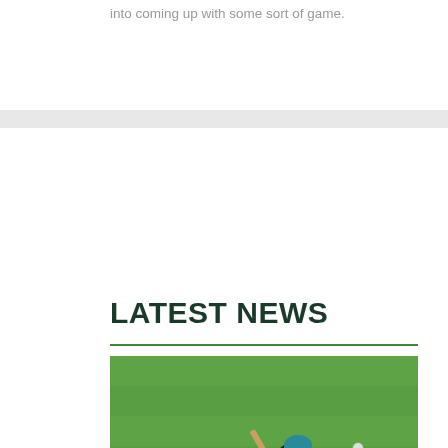into coming up with some sort of game.
LATEST NEWS
[Figure (photo): Cricket match photo: a batsman in black and teal kit playing a shot, with a wicket-keeper in yellow crouching behind the stumps, on a green cricket ground]
LEACH FIREWORKS WITH BAT BUT